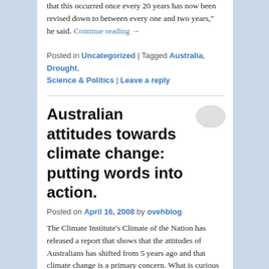that this occurred once every 20 years has now been revised down to between every one and two years," he said. Continue reading →
Posted in Uncategorized | Tagged Australia, Drought, Science & Politics | Leave a reply
Australian attitudes towards climate change: putting words into action.
Posted on April 16, 2008 by ovehblog
The Climate Institute's Climate of the Nation has released a report that shows that the attitudes of Australians has shifted from 5 years ago and that climate change is a primary concern. What is curious is that the Rudd government hasn't convinced us that real and effective action will be possible..